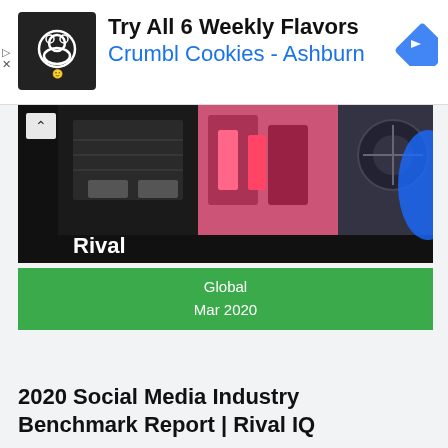[Figure (screenshot): Ad banner: Crumbl Cookies Ashburn advertisement with logo, text 'Try All 6 Weekly Flavors Crumbl Cookies - Ashburn', and navigation arrow icon]
[Figure (photo): Rival IQ banner image showing collage of social media and marketing related photos (wireframes, makeup, driving) with 'Rival' text overlay]
Global
Mar 2020
2020 Social Media Industry Benchmark Report | Rival IQ
[Figure (photo): Dark blue image with peppercomm and Institute for Public Relations logos, and financial/analytics chart bars in background]